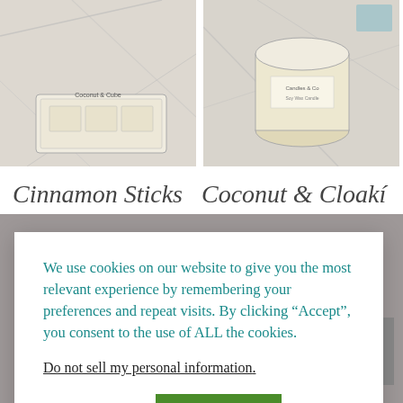[Figure (photo): Two photos side by side: left shows wax melt packaging on a marble surface, right shows a candle jar on a marble surface]
Cinnamon Sticks Coconut & Cloak...
We use cookies on our website to give you the most relevant experience by remembering your preferences and repeat visits. By clicking “Accept”, you consent to the use of ALL the cookies.
Do not sell my personal information.
Cookie settings
ACCEPT
HOME PAGE
ABOUT